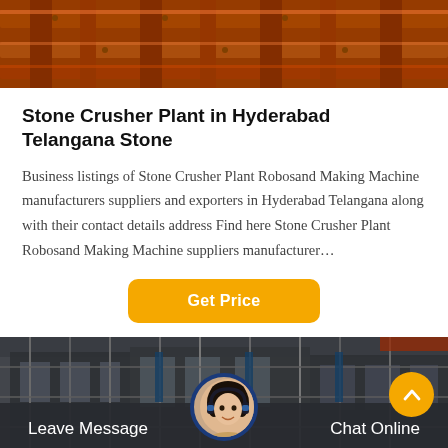[Figure (photo): Close-up photo of orange steel/metal industrial equipment or machinery structure]
Stone Crusher Plant in Hyderabad Telangana Stone
Business listings of Stone Crusher Plant Robosand Making Machine manufacturers suppliers and exporters in Hyderabad Telangana along with their contact details address Find here Stone Crusher Plant Robosand Making Machine suppliers manufacturer…
[Figure (photo): Industrial factory or plant interior showing heavy machinery, steel structures, scaffolding and equipment]
Leave Message
Chat Online